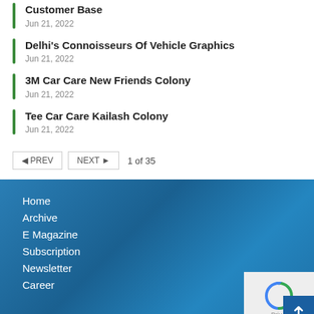Customer Base
Jun 21, 2022
Delhi's Connoisseurs Of Vehicle Graphics
Jun 21, 2022
3M Car Care New Friends Colony
Jun 21, 2022
Tee Car Care Kailash Colony
Jun 21, 2022
◄ PREV   NEXT ►   1 of 35
Home
Archive
E Magazine
Subscription
Newsletter
Career